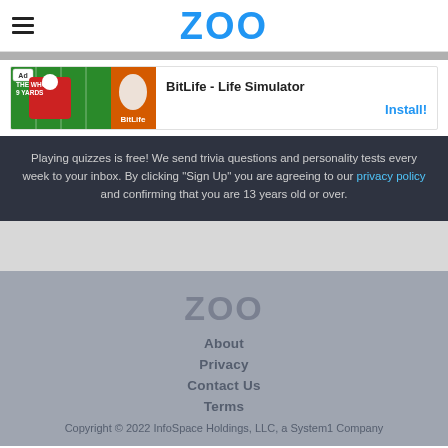ZOO
[Figure (screenshot): Advertisement for BitLife - Life Simulator app showing game imagery with a football jersey and BitLife logo on green/red background]
Playing quizzes is free! We send trivia questions and personality tests every week to your inbox. By clicking "Sign Up" you are agreeing to our privacy policy and confirming that you are 13 years old or over.
ZOO
About
Privacy
Contact Us
Terms
Copyright © 2022 InfoSpace Holdings, LLC, a System1 Company